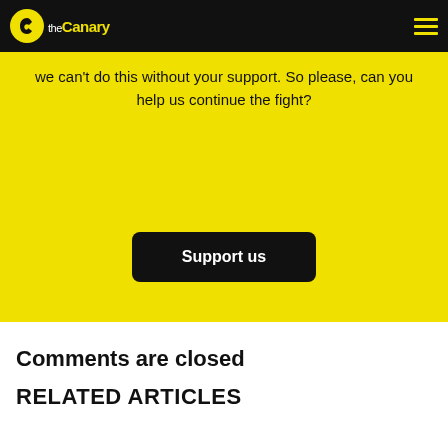theCanary
we can't do this without your support. So please, can you help us continue the fight?
Support us
Comments are closed
RELATED ARTICLES